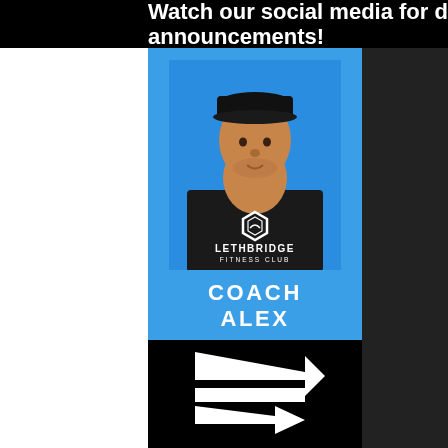Watch our social media for date announcements!
[Figure (photo): Photo of Coach Alex wearing a black Lethbridge Fitness Club sweatshirt, with a black snapback cap, against a blue background]
COACH ALEX
BKin, PES, NCCP FMS
[Figure (logo): Lethbridge Fitness Club logo mark — white arrow/chevron design on black background]